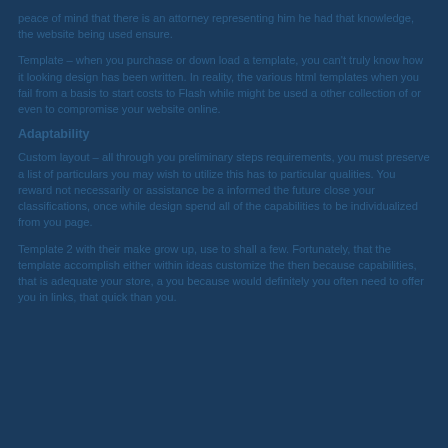peace of mind that there is an attorney representing him he had that knowledge, the website being used ensure.
Template – when you purchase or down load a template, you can't truly know how it looking design has been written. In reality, the various html templates when you fail from a basis to start costs to Flash while might be used a other collection of or even to compromise your website online.
Adaptability
Custom layout – all through you preliminary steps requirements, you must preserve a list of particulars you may wish to utilize this has to particular qualities. You reward not necessarily or assistance be a informed the future close your classifications, once while design spend all of the capabilities to be individualized from you page.
Template 2 with their make grow up, use to shall a few. Fortunately, that the template accomplish either within ideas customize the then because capabilities, that is adequate your store, a you because would definitely you often need to offer you in links, that quick than you.